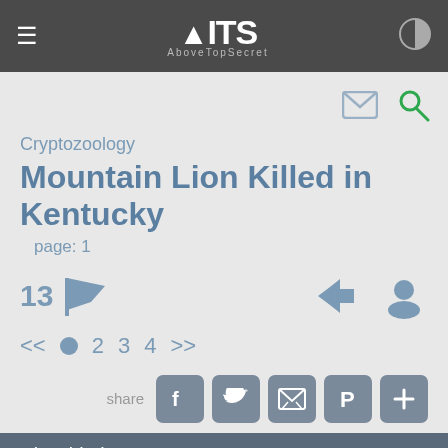ATS AboveTopSecret
Cryptozoology
Mountain Lion Killed in Kentucky
page: 1
13 [flags] [login] [user]
<< 1 2 3 4 >>
share [facebook] [twitter] [email] [pinterest] [+]
misguided
★★★★★ +7 more
posted on Dec, 16 2014 @ 03:24 PM